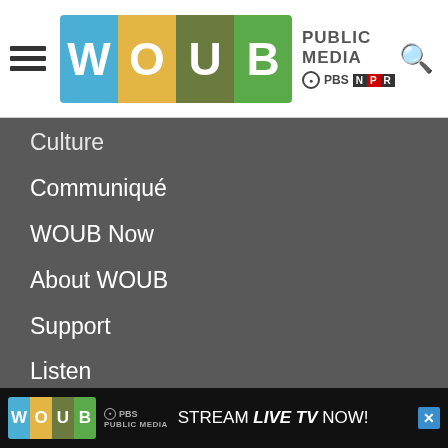[Figure (logo): WOUB Public Media logo with PBS and NPR badges in the header nav bar]
Culture
Communiqué
WOUB Now
About WOUB
Support
Listen
Learn
Ohio Valley ReSource
PBS
NPR
Community Calendar
WOUB-TV FCC Files
WOUC-TV FCC Files
[Figure (advertisement): WOUB Public Media ad banner: STREAM LIVE TV NOW!]